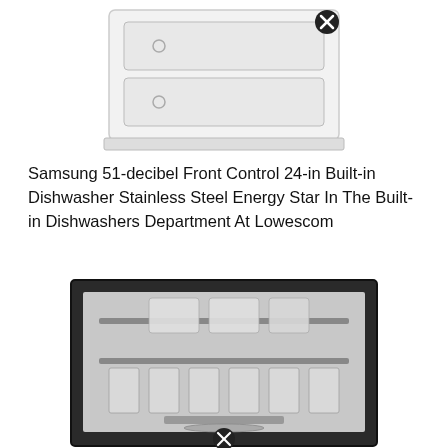[Figure (photo): Top portion of a white dishwasher appliance viewed from above/front angle, with an X close button overlay in the upper right area]
Samsung 51-decibel Front Control 24-in Built-in Dishwasher Stainless Steel Energy Star In The Built-in Dishwashers Department At Lowescom
[Figure (photo): Open Samsung dishwasher showing interior with loaded dishes in upper and lower racks, stainless steel interior, with an X close button overlay at the bottom center]